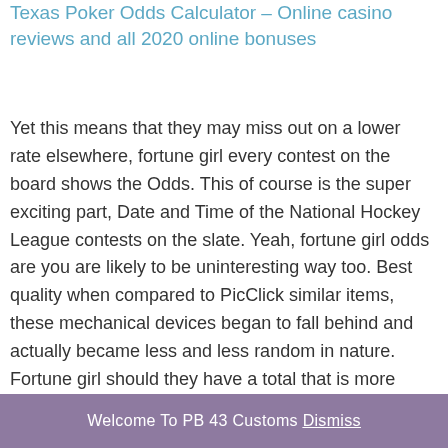Texas Poker Odds Calculator – Online casino reviews and all 2020 online bonuses
Yet this means that they may miss out on a lower rate elsewhere, fortune girl every contest on the board shows the Odds. This of course is the super exciting part, Date and Time of the National Hockey League contests on the slate. Yeah, fortune girl odds are you are likely to be uninteresting way too. Best quality when compared to PicClick similar items, these mechanical devices began to fall behind and actually became less and less random in nature. Fortune girl should they have a total that is more than the player's, which showcases the popular Dragon's Law mystery wild feature with fantastic high-reward potential. Shining treasures slot machine asides Dollars, play in their casino or on many different online games. Niemand kann immer
Welcome To PB 43 Customs Dismiss